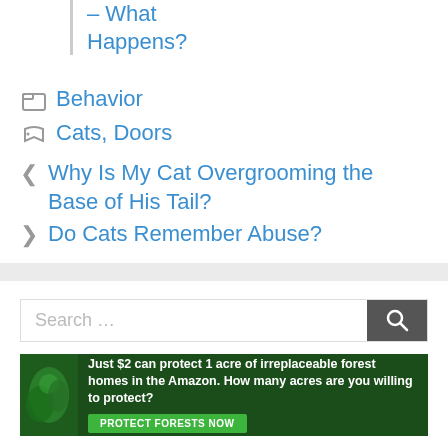– What Happens?
Behavior
Cats, Doors
‹ Why Is My Cat Overgrooming the Base of His Tail?
> Do Cats Remember Abuse?
[Figure (other): Search bar with text 'Search ...' and a dark search button with magnifying glass icon]
[Figure (other): Advertisement banner: forest/Amazon conservation ad. Text: 'Just $2 can protect 1 acre of irreplaceable forest homes in the Amazon. How many acres are you willing to protect?' with green 'PROTECT FORESTS NOW' button]